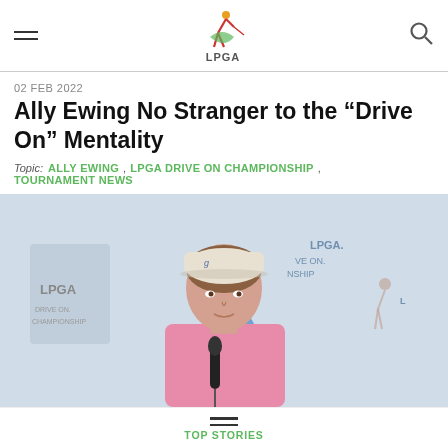LPGA
02 FEB 2022
Ally Ewing No Stranger to the “Drive On” Mentality
Topic: ALLY EWING , LPGA DRIVE ON CHAMPIONSHIP , TOURNAMENT NEWS
[Figure (photo): Ally Ewing at a press conference in front of LPGA Drive On Championship backdrop, wearing a pink polo shirt and white cap with a microphone in front of her]
TOP STORIES